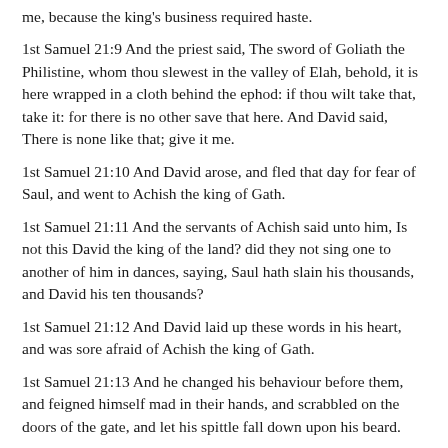me, because the king's business required haste.
1st Samuel 21:9 And the priest said, The sword of Goliath the Philistine, whom thou slewest in the valley of Elah, behold, it is here wrapped in a cloth behind the ephod: if thou wilt take that, take it: for there is no other save that here. And David said, There is none like that; give it me.
1st Samuel 21:10 And David arose, and fled that day for fear of Saul, and went to Achish the king of Gath.
1st Samuel 21:11 And the servants of Achish said unto him, Is not this David the king of the land? did they not sing one to another of him in dances, saying, Saul hath slain his thousands, and David his ten thousands?
1st Samuel 21:12 And David laid up these words in his heart, and was sore afraid of Achish the king of Gath.
1st Samuel 21:13 And he changed his behaviour before them, and feigned himself mad in their hands, and scrabbled on the doors of the gate, and let his spittle fall down upon his beard.
1st Samuel 21:14 Then said Achish to his servants...